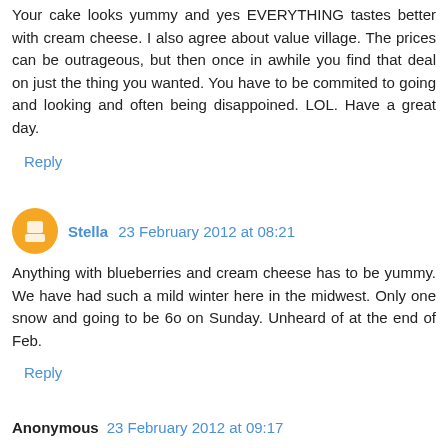Your cake looks yummy and yes EVERYTHING tastes better with cream cheese. I also agree about value village. The prices can be outrageous, but then once in awhile you find that deal on just the thing you wanted. You have to be commited to going and looking and often being disappoined. LOL. Have a great day.
Reply
Stella  23 February 2012 at 08:21
Anything with blueberries and cream cheese has to be yummy. We have had such a mild winter here in the midwest. Only one snow and going to be 6o on Sunday. Unheard of at the end of Feb.
Reply
Anonymous  23 February 2012 at 09:17
Blueberry coffee cake... with cream cheese... count me in :). I admire your husband for not liking sweets, but unfortunately I do.